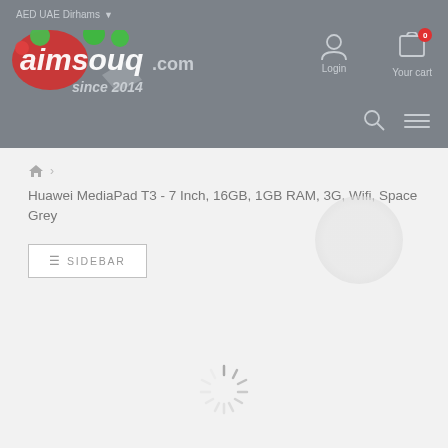AED UAE Dirhams
[Figure (logo): aimsouq.com since 2014 logo with red and green decorative circles]
[Figure (illustration): User account icon and Login label]
[Figure (illustration): Shopping cart icon with 0 badge and Your cart label]
[Figure (illustration): Search magnifying glass icon]
Huawei MediaPad T3 - 7 Inch, 16GB, 1GB RAM, 3G, Wifi, Space Grey
SIDEBAR
[Figure (illustration): Loading spinner animation]